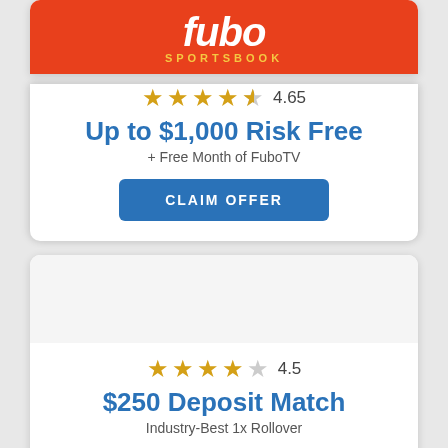[Figure (logo): Fubo Sportsbook logo — orange background with white italic 'fubo' text and yellow 'SPORTSBOOK' subtitle]
4.65
Up to $1,000 Risk Free
+ Free Month of FuboTV
CLAIM OFFER
4.5
$250 Deposit Match
Industry-Best 1x Rollover